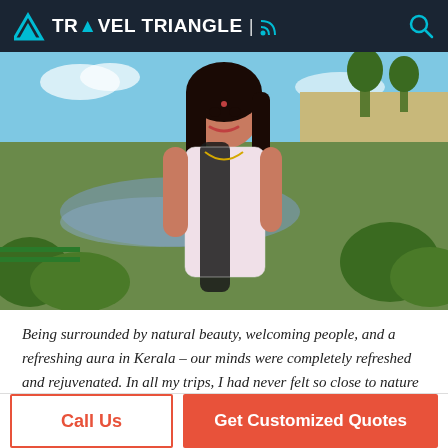TRAVEL TRIANGLE
[Figure (photo): Young Indian woman standing outdoors with long dark hair, wearing a white printed sleeveless kurti and black dupatta, smiling, with a scenic green landscape and river in the background.]
Being surrounded by natural beauty, welcoming people, and a refreshing aura in Kerala – our minds were completely refreshed and rejuvenated. In all my trips, I had never felt so close to nature as I did during this holiday!
Call Us
Get Customized Quotes